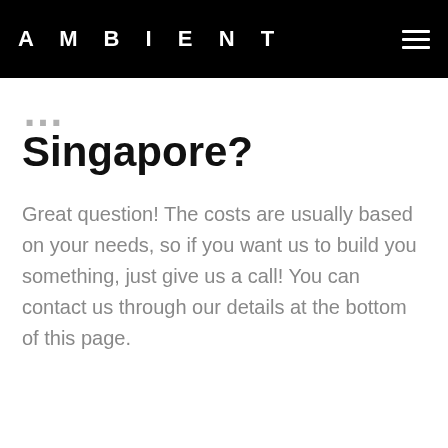AMBIENT
Singapore?
Great question! The costs are usually based on your needs, so if you want us to build you something, just give us a call! You can contact us through our details at the bottom of this page.